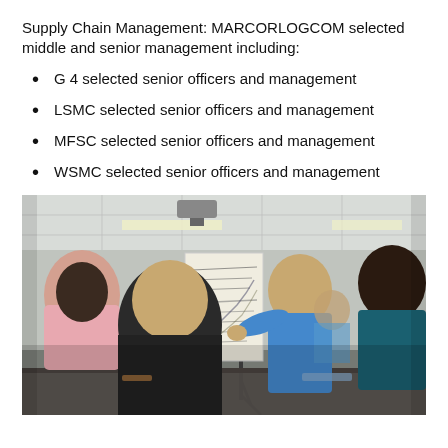Supply Chain Management: MARCORLOGCOM selected middle and senior management including:
G 4 selected senior officers and management
LSMC selected senior officers and management
MFSC selected senior officers and management
WSMC selected senior officers and management
[Figure (photo): People standing around a flip chart easel in a conference room. A man in a blue sweater is presenting/pointing at the flip chart with handwritten notes. Others including a man in a pink shirt and a woman in a teal top are listening.]